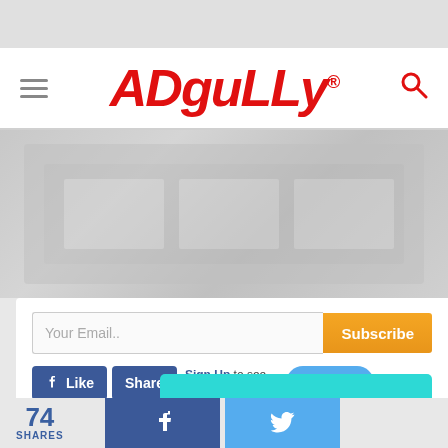[Figure (screenshot): Gray top bar background area]
ADgully® [navigation bar with hamburger menu and search icon]
[Figure (photo): Blurred/faded content area with indistinct background]
Your Email.. [input field] Subscribe [button]
Like  Share  Sign Up to see what your friends  Tweet
[Figure (screenshot): Teal/cyan colored bar]
74 SHARES